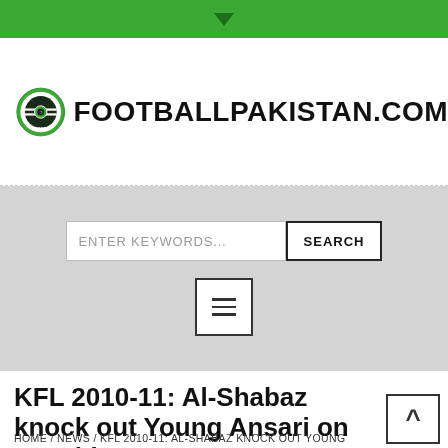[Figure (logo): FootballPakistan.com logo: green circular badge with football design and text FOOTBALLPAKISTAN.COM 2003]
[Figure (screenshot): Search bar with placeholder ENTER KEYWORDS... and SEARCH button, plus hamburger menu icon]
KFL 2010-11: Al-Shabaz knock out Young Ansari on penalties
HOME / NEWS / KFL 2010-11: AL-SHABAZ KNOCK OUT YOUNG ANSARI ON PENALTIES